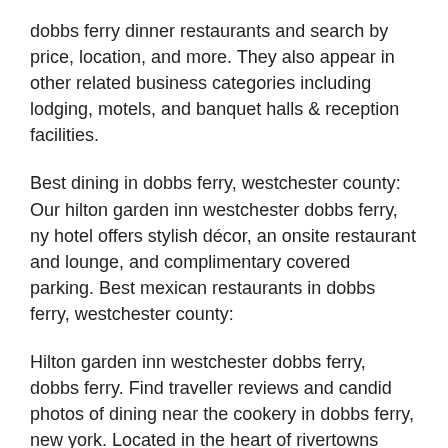dobbs ferry dinner restaurants and search by price, location, and more. They also appear in other related business categories including lodging, motels, and banquet halls & reception facilities.
Best dining in dobbs ferry, westchester county: Our hilton garden inn westchester dobbs ferry, ny hotel offers stylish décor, an onsite restaurant and lounge, and complimentary covered parking. Best mexican restaurants in dobbs ferry, westchester county:
Hilton garden inn westchester dobbs ferry, dobbs ferry. Find traveller reviews and candid photos of dining near the cookery in dobbs ferry, new york. Located in the heart of rivertowns square complex, with various shopping, dining and entertainment options, our hotel is near house of sports, acorda therapeutic headquarters,.